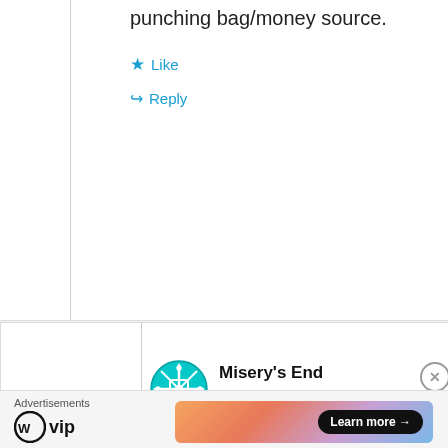whole time they had the me as a punching bag/money source.
★ Like
↪ Reply
Misery's End
May 17, 2019 at 4:12 am
I would say it was more the low self-esteem that his previous [cut off]
Advertisements
WP vip
Learn more →